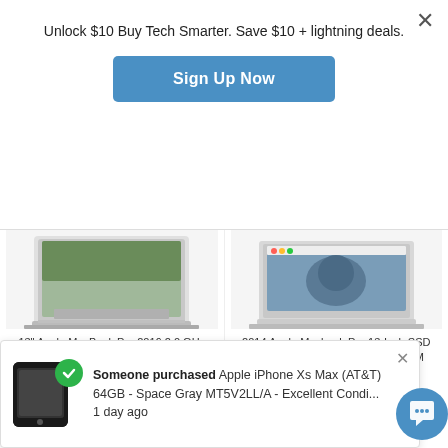Unlock $10 Buy Tech Smarter. Save $10 + lightning deals.
Sign Up Now
[Figure (photo): MacBook laptop product photo, Space Grey, open on white surface]
13" Apple MacBook Pro 2016 2.0 GHz Core i5 256GB SSD 8GB RAM (Space Grey)
$1,499.00
$899.00
[Figure (photo): 2014 Apple MacBook Pro 13-inch silver laptop product photo]
2014 Apple Macbook Pro 13-Inch SSD 2.6GHz - 3.1GHz Core i5 8GB RAM MGX72LL/A
$799.00
$399.00
Someone purchased Apple iPhone Xs Max (AT&T) 64GB - Space Gray MT5V2LL/A - Excellent Condi... 1 day ago